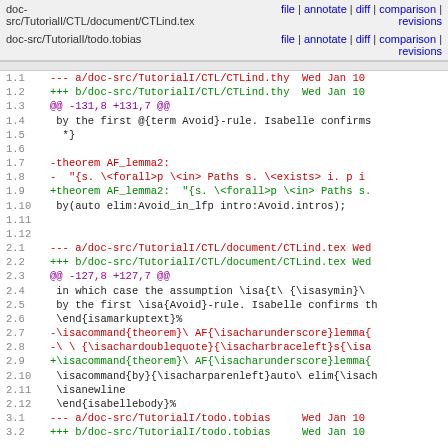| File | Links |
| --- | --- |
| doc-src/TutorialI/CTL/document/CTLind.tex | file | annotate | diff | comparison | revisions |
| doc-src/TutorialI/todo.tobias | file | annotate | diff | comparison | revisions |
Diff view showing changes to CTLind.thy, CTLind.tex, and todo.tobias files with line numbers and colored additions/deletions
[Figure (screenshot): Code diff view showing file changes with line numbers (1.1-3.2), red lines for deletions, green lines for additions, purple for @@ markers, black for context lines]